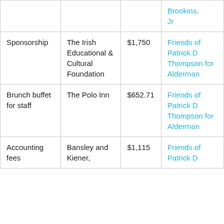|  |  |  | Brookins, Jr |
| Sponsorship | The Irish Educational & Cultural Foundation | $1,750 | Friends of Patrick D Thompson for Alderman |
| Brunch buffet for staff | The Polo Inn | $652.71 | Friends of Patrick D Thompson for Alderman |
| Accounting fees | Bansley and Kiener, | $1,115 | Friends of Patrick D |